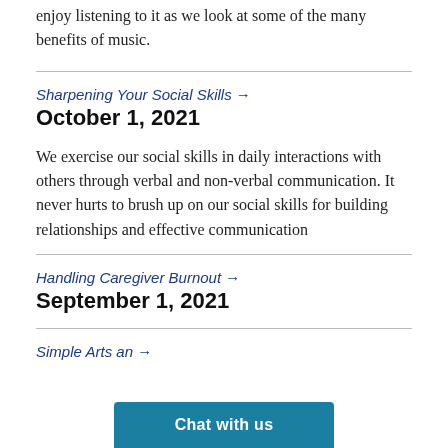Think about how music makes you feel and why you enjoy listening to it as we look at some of the many benefits of music.
Sharpening Your Social Skills →
October 1, 2021
We exercise our social skills in daily interactions with others through verbal and non-verbal communication. It never hurts to brush up on our social skills for building relationships and effective communication
Handling Caregiver Burnout →
September 1, 2021
Simple Arts and ... →
Chat with us